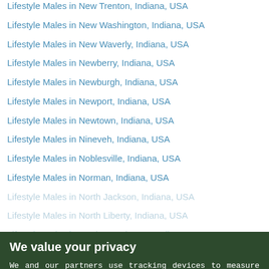Lifestyle Males in New Trenton, Indiana, USA
Lifestyle Males in New Washington, Indiana, USA
Lifestyle Males in New Waverly, Indiana, USA
Lifestyle Males in Newberry, Indiana, USA
Lifestyle Males in Newburgh, Indiana, USA
Lifestyle Males in Newport, Indiana, USA
Lifestyle Males in Newtown, Indiana, USA
Lifestyle Males in Nineveh, Indiana, USA
Lifestyle Males in Noblesville, Indiana, USA
Lifestyle Males in Norman, Indiana, USA
Lifestyle Males in North Jackson, Indiana, USA
Lifestyle Males in North Liberty, Indiana, USA
Lifestyle Males in North Manchester, Indiana, USA
Lifestyle Males in North Salem, Indiana, USA
Lifestyle Males in North Vernon, Indiana, USA
Lifestyle Males in North Webster, Indiana, USA
Lifestyle Males in Notre Dame, Indiana, USA
Lifestyle Males in Oakland City, Indiana, USA
Lifestyle Males in Palmyra, Indiana, USA
Lifestyle Males in Oakville, Indiana, USA
[Figure (screenshot): Privacy consent overlay with dark green background. Title: 'We value your privacy'. Body text explaining tracking devices use. 'View Our Cookie Policy' link in orange. 'Yes, I agree' green button. Disclaimer text below.]
We value your privacy
We and our partners use tracking devices to measure the audience of our website, provide you with offers and advertising tailored to your interests, and to enable interactive platform features. View Our Cookie Policy
Yes, I agree
If you do not agree, please discontinue use of the site